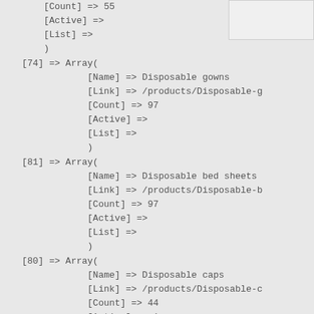[Count] => 55
[Active] =>
[List] =>
)
[74] => Array(
        [Name] => Disposable gowns
        [Link] => /products/Disposable-g
        [Count] => 97
        [Active] =>
        [List] =>
        )
[81] => Array(
        [Name] => Disposable bed sheets
        [Link] => /products/Disposable-b
        [Count] => 97
        [Active] =>
        [List] =>
        )
[80] => Array(
        [Name] => Disposable caps
        [Link] => /products/Disposable-c
        [Count] => 44
        [Active] => 1
        [List] =>